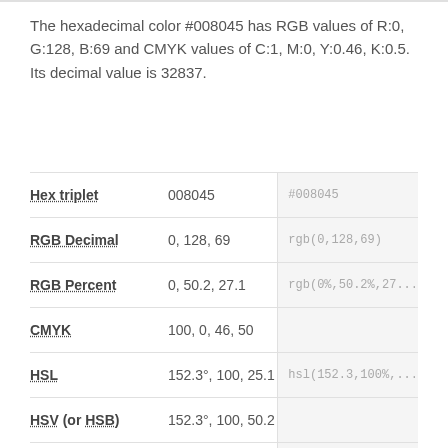The hexadecimal color #008045 has RGB values of R:0, G:128, B:69 and CMYK values of C:1, M:0, Y:0.46, K:0.5. Its decimal value is 32837.
|  |  |  |
| --- | --- | --- |
| Hex triplet | 008045 | #008045 |
| RGB Decimal | 0, 128, 69 | rgb(0,128,69) |
| RGB Percent | 0, 50.2, 27.1 | rgb(0%,50.2%,27... |
| CMYK | 100, 0, 46, 50 |  |
| HSL | 152.3°, 100, 25.1 | hsl(152.3,100%,... |
| HSV (or HSB) | 152.3°, 100, 50.2 |  |
| Web Safe | 009933 | #009933 |
| CIE LAB | 46.8, -44.554, 22.716 |  |